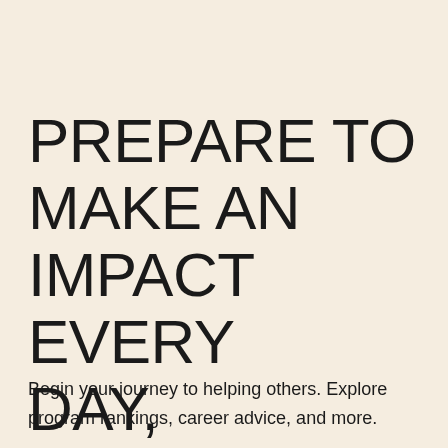PREPARE TO MAKE AN IMPACT EVERY DAY, STARTING NOW
Begin your journey to helping others. Explore program rankings, career advice, and more.